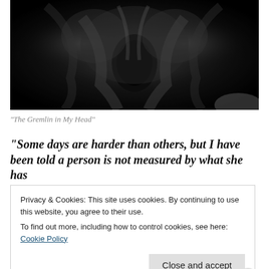[Figure (photo): Black and white dramatic photograph of a screaming face or creature, resembling a gremlin or monster with open mouth, high contrast dark image]
"The Gremlin in My Head"
“Some days are harder than others, but I have been told a person is not measured by what she has
Privacy & Cookies: This site uses cookies. By continuing to use this website, you agree to their use.
To find out more, including how to control cookies, see here: Cookie Policy
Close and accept
Advertisements